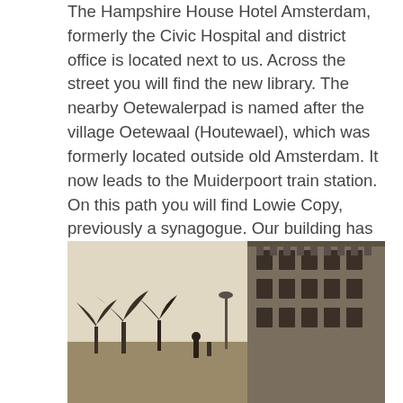The Hampshire House Hotel Amsterdam, formerly the Civic Hospital and district office is located next to us. Across the street you will find the new library. The nearby Oetewalerpad is named after the village Oetewaal (Houtewael), which was formerly located outside old Amsterdam. It now leads to the Muiderpoort train station. On this path you will find Lowie Copy, previously a synagogue. Our building has been in use as a flower shop, apparently since 1913. Watch a video about the history of the neighbourhood.
[Figure (photo): Old sepia-toned photograph of a street scene in Amsterdam, showing a multi-story building facade on the right side and bare trees on the left, with figures in the foreground.]